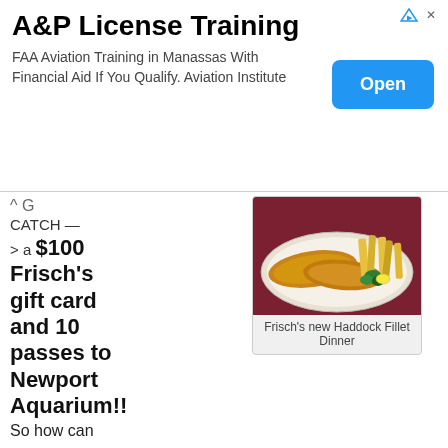[Figure (other): Advertisement banner: A&P License Training. FAA Aviation Training in Manassas With Financial Aid If You Qualify. Aviation Institute. Blue 'Open' button on right.]
G
CATCH —
> a $100 Frisch's gift card and 10 passes to Newport Aquarium!!
[Figure (photo): Photo of Frisch's new Haddock Fillet Dinner — breaded fish fillets with french fries and parsley on a plate]
Frisch's new Haddock Fillet Dinner
So how can you enter to win? It's easy. Simply answer question number one below. Additional items are bonus entries. Leave a separate comment on this post for each one you complete. A total of five entries are possible.
1. What is your favorite item to order at Frisch's?
Bonus Entries